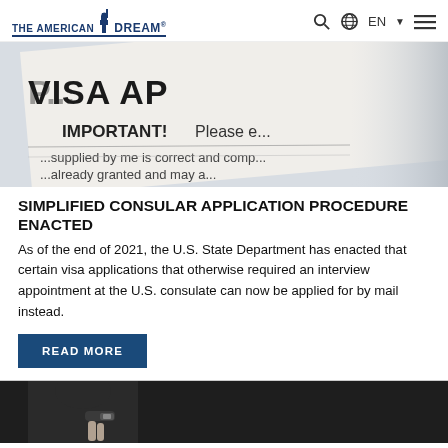THE AMERICAN DREAM — Navigation bar with logo, search, globe/EN selector, hamburger menu
[Figure (photo): Close-up photo of a visa application form showing text VISA APPLICATION and IMPORTANT! Please ensure information supplied by me is correct and complete. Visa already granted and may affect the expiry...]
SIMPLIFIED CONSULAR APPLICATION PROCEDURE ENACTED
As of the end of 2021, the U.S. State Department has enacted that certain visa applications that otherwise required an interview appointment at the U.S. consulate can now be applied for by mail instead.
READ MORE
[Figure (photo): Partial photo of a person in dark clothing, cropped at bottom of page]